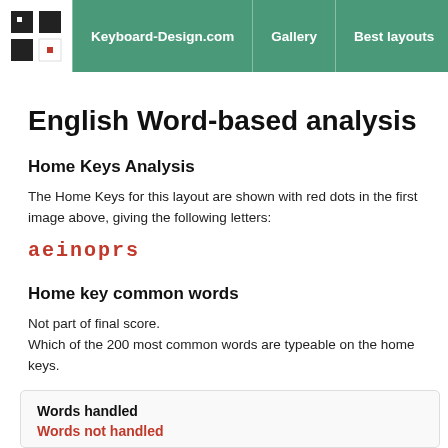Keyboard-Design.com | Gallery | Best layouts | Too
English Word-based analysis
Home Keys Analysis
The Home Keys for this layout are shown with red dots in the first image above, giving the following letters:
aeinoprs
Home key common words
Not part of final score.
Which of the 200 most common words are typeable on the home keys.
Words handled
Words not handled